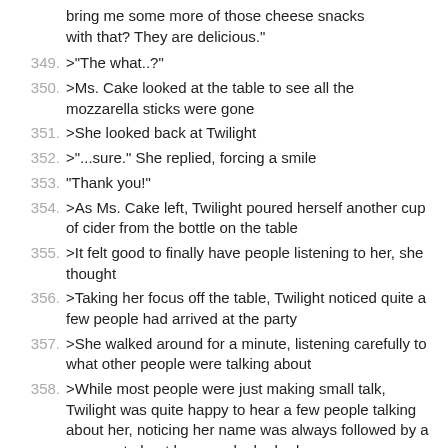(continuation) bring me some more of those cheese snacks with that? They are delicious."
349. >"The what..?"
350. >Ms. Cake looked at the table to see all the mozzarella sticks were gone
351. >She looked back at Twilight
352. >"...sure." She replied, forcing a smile
353. "Thank you!"
354. >As Ms. Cake left, Twilight poured herself another cup of cider from the bottle on the table
355. >It felt good to finally have people listening to her, she thought
356. >Taking her focus off the table, Twilight noticed quite a few people had arrived at the party
357. >She walked around for a minute, listening carefully to what other people were talking about
358. >While most people were just making small talk, Twilight was quite happy to hear a few people talking about her, noticing her name was always followed by a comment about how much she had grown
359. >One group that caught her attention was a trio that worked at a flower shop in town